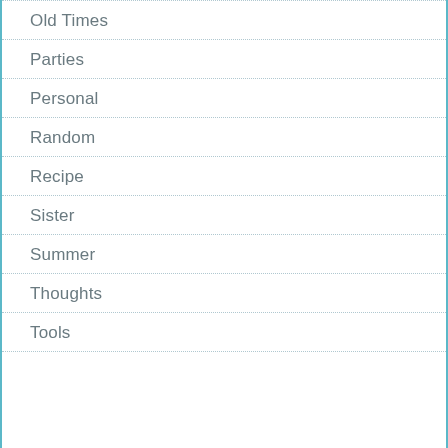Old Times
Parties
Personal
Random
Recipe
Sister
Summer
Thoughts
Tools